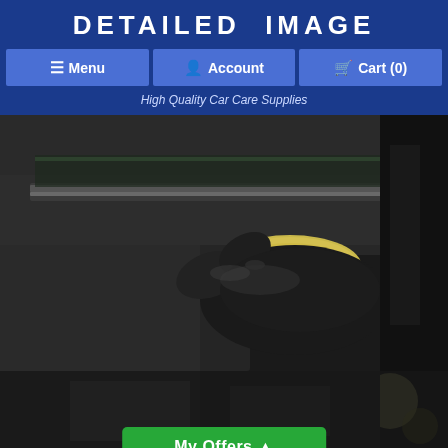DETAILED IMAGE
Menu | Account | Cart (0)
High Quality Car Care Supplies
[Figure (photo): Close-up of a gloved hand in a black nitrile glove holding a yellow microfiber cloth, cleaning a car window or door glass edge area.]
[Figure (photo): Partial view of a car interior/exterior area, blurred background. Green 'My Offers' button overlaid at the bottom center.]
My Offers ▲